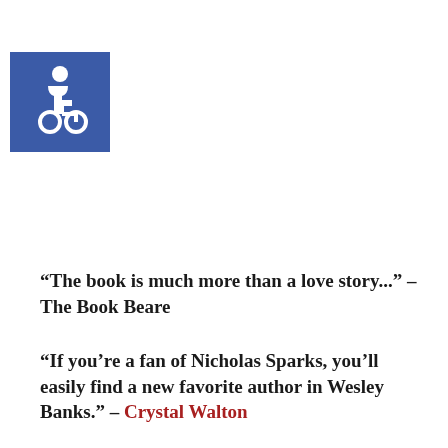[Figure (logo): Blue square with white wheelchair accessibility symbol (ISA icon)]
“The book is much more than a love story...” – The Book Beare
“If you’re a fan of Nicholas Sparks, you’ll easily find a new favorite author in Wesley Banks.” – Crystal Walton